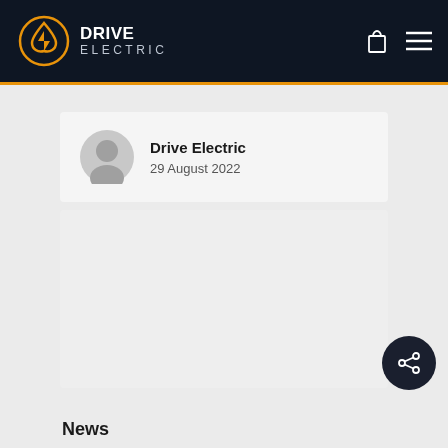DRIVE ELECTRIC
Drive Electric
29 August 2022
[Figure (other): Empty content placeholder area]
News